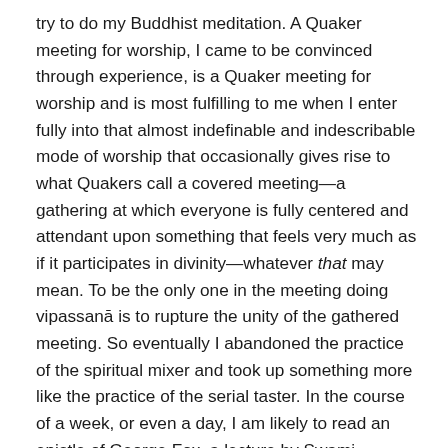try to do my Buddhist meditation. A Quaker meeting for worship, I came to be convinced through experience, is a Quaker meeting for worship and is most fulfilling to me when I enter fully into that almost indefinable and indescribable mode of worship that occasionally gives rise to what Quakers call a covered meeting—a gathering at which everyone is fully centered and attendant upon something that feels very much as if it participates in divinity—whatever that may mean. To be the only one in the meeting doing vipassanā is to rupture the unity of the gathered meeting. So eventually I abandoned the practice of the spiritual mixer and took up something more like the practice of the serial taster. In the course of a week, or even a day, I am likely to read an epistle of George Fox, a lecture by Swami Vivekananda, a chapter of a book by Paul Tillich, an essay by Dōgen, a few pages of Carl Jung,